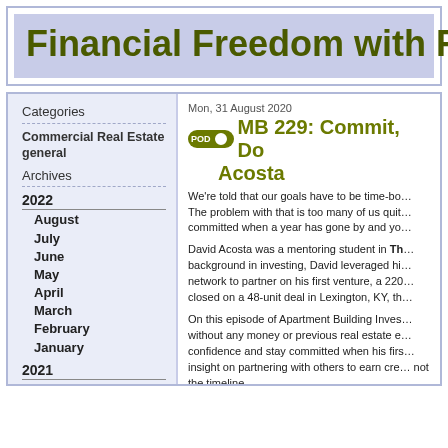Financial Freedom with Re
Mon, 31 August 2020
MB 229: Commit, Do… Acosta
We're told that our goals have to be time-bo… The problem with that is too many of us quit… committed when a year has gone by and yo…
David Acosta was a mentoring student in Th… background in investing, David leveraged hi… network to partner on his first venture, a 220… closed on a 48-unit deal in Lexington, KY, th…
On this episode of Apartment Building Inves… without any money or previous real estate e… confidence and stay committed when his firs… insight on partnering with others to earn cre… not the timeline.
Key Takeaways
What prompted David's interest in multifamil…
Background in restaurants, wanted …
Real estate investing research led to…
Categories
Commercial Real Estate general
Archives
2022
August
July
June
May
April
March
February
January
2021
December
November
October
September